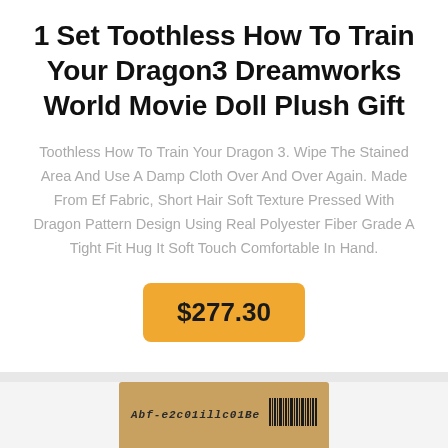1 Set Toothless How To Train Your Dragon3 Dreamworks World Movie Doll Plush Gift
Toothless How To Train Your Dragon 3. Wipe The Stained Area And Use A Damp Cloth Over And Over Again. Made From Ef Fabric, Short Hair Soft Texture Pressed With Dragon Pattern Design Using Real Polyester Fiber Grade A Tight Fit Hug It Soft Touch Comfortable In Hand.
$277.30
[Figure (photo): Partial view of a cardboard shipping box/package with text and a barcode label on it, shown from below the page fold.]